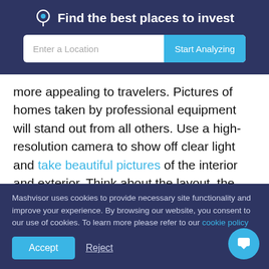Find the best places to invest
more appealing to travelers. Pictures of homes taken by professional equipment will stand out from all others. Use a high-resolution camera to show off clear light and take beautiful pictures of the interior and exterior. Think about the layout, the angle, and how the photos will be assembled on the website. You want to lead your potential guest through your home diligently and accurately. If you have
Mashvisor uses cookies to provide necessary site functionality and improve your experience. By browsing our website, you consent to our use of cookies. To learn more please refer to our cookie policy